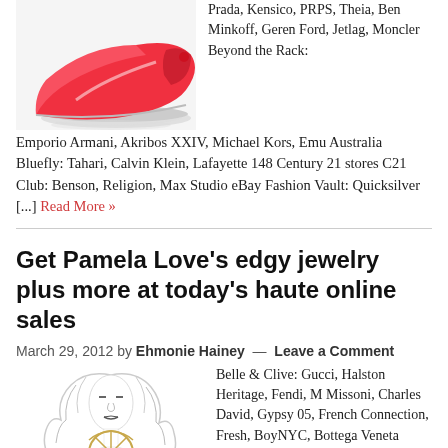[Figure (illustration): Partial image of a red shoe at the top left]
Prada, Kensico, PRPS, Theia, Ben Minkoff, Geren Ford, Jetlag, Moncler Beyond the Rack: Emporio Armani, Akribos XXIV, Michael Kors, Emu Australia Bluefly: Tahari, Calvin Klein, Lafayette 148 Century 21 stores C21 Club: Benson, Religion, Max Studio eBay Fashion Vault: Quicksilver [...] Read More »
Get Pamela Love's edgy jewelry plus more at today's haute online sales
March 29, 2012 by Ehmonie Hainey — Leave a Comment
[Figure (illustration): Fashion illustration of a woman wearing a large geometric gold necklace with a turquoise pendant]
Belle & Clive: Gucci, Halston Heritage, Fendi, M Missoni, Charles David, Gypsy 05, French Connection, Fresh, BoyNYC, Bottega Veneta Beyond the Rack: Armani